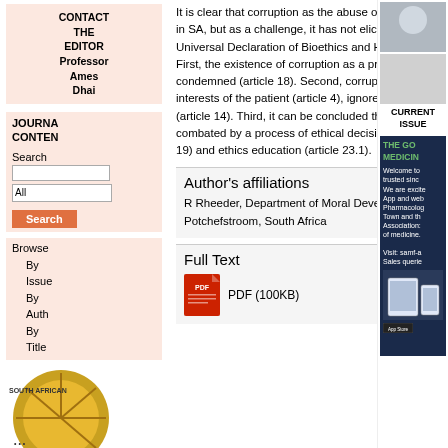CONTACT THE EDITOR Professor Ames Dhai
JOURNAL CONTENTS
Search
All
Search
Browse
By Issue
By Author
By Title
It is clear that corruption as the abuse of power is an enormous bioethical issue in the public health sector in SA, but as a challenge, it has not elicited much discussion from a global bioethical perspective. The Universal Declaration of Bioethics and Human Rights (UDBHR) on corruption considers three matters. First, the existence of corruption as a problem of power is recognised in the health environment and condemned (article 18). Second, corruption is indicated as an immoral phenomenon that harms the interests of the patient (article 4), ignores vulnerable people (article 8) and neglects social responsibility (article 14). Third, it can be concluded that the UDBHR expresses the opinion that corruption has to be combated by a process of ethical decision-making (article 18.2-3), the use of ethics committees (article 19) and ethics education (article 23.1).
Author's affiliations
R Rheeder, Department of Moral Development of Society, Faculty of Theology, North-West University, Potchefstroom, South Africa
Full Text
PDF (100KB)
CURRENT ISSUE
THE GO MEDICIN Welcome to trusted sinc We are excite App and web Pharmacolog Town and th Association: of medicine. Visit: samf-a Sales querie